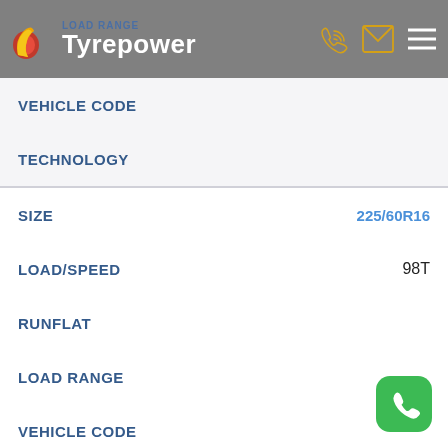LOAD RANGE Tyrepower
| Field | Value |
| --- | --- |
| VEHICLE CODE |  |
| TECHNOLOGY |  |
| Field | Value |
| --- | --- |
| SIZE | 225/60R16 |
| LOAD/SPEED | 98T |
| RUNFLAT |  |
| LOAD RANGE |  |
| VEHICLE CODE |  |
| TECHNOLOGY |  |
| Field | Value |
| --- | --- |
| SIZE | 225/65R16 |
| LOAD/SPEED | 100T |
| RUNFLAT |  |